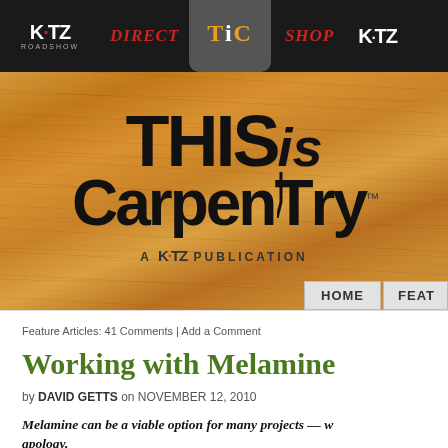KATZ ROADSHOW | DIRECT | TiC | SHOP | KATZ
[Figure (logo): THISis CarpentryTM logo on wood-grain background with 'A KATZ PUBLICATION' text below]
HOME | FEAT
Feature Articles: 41 Comments | Add a Comment
Working with Melamine
by DAVID GETTS on NOVEMBER 12, 2010
Melamine can be a viable option for many projects — w... apology.